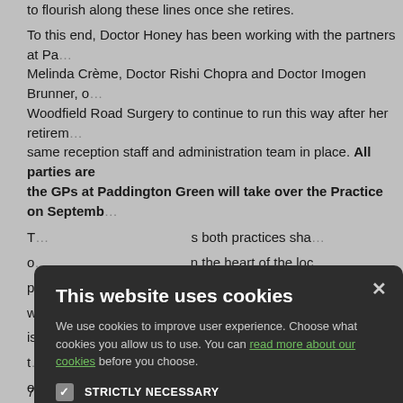to flourish along these lines once she retires.
To this end, Doctor Honey has been working with the partners at Paddington Green, Melinda Crème, Doctor Rishi Chopra and Doctor Imogen Brunner, of Woodfield Road Surgery to continue to run this way after her retirement, with the same reception staff and administration team in place. All parties are agreed that the GPs at Paddington Green will take over the Practice on September...
...as both practices share...in the heart of the loc...are members of the ...experience similar cha...the same local, hos...in a position not only...apacity but also gain...change where need...
[Figure (screenshot): Cookie consent modal dialog with dark background. Title: 'This website uses cookies'. Body text: 'We use cookies to improve user experience. Choose what cookies you allow us to use. You can read more about our cookies before you choose.' Checkboxes: STRICTLY NECESSARY (checked), PERFORMANCE (unchecked), TARGETING (unchecked), FUNCTIONALITY (unchecked). Two buttons: ACCEPT ALL (green) and DECLINE ALL (outline). X close button in top right.]
...eedback we receive...back or have any sp...
7E Woodfield Road